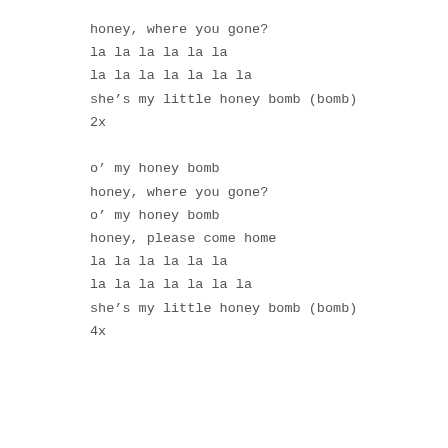honey, where you gone?
la la la la la la
la la la la la la la
she's my little honey bomb (bomb)
2x
o' my honey bomb
honey, where you gone?
o' my honey bomb
honey, please come home
la la la la la la
la la la la la la la
she's my little honey bomb (bomb)
4x